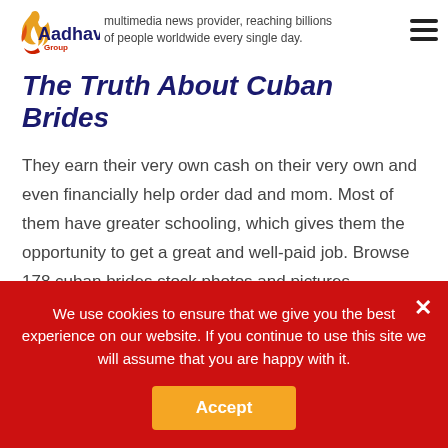multimedia news provider, reaching billions of people worldwide every single day.
The Truth About Cuban Brides
They earn their very own cash on their very own and even financially help order dad and mom. Most of them have greater schooling, which gives them the opportunity to get a great and well-paid job. Browse 178 cuban brides stock photos and pictures available, or begin a new search to discover more inventory pictures and images. For
We use cookies to ensure that we give you the best experience on our website. If you continue to use this site we will assume that you are happy with it.